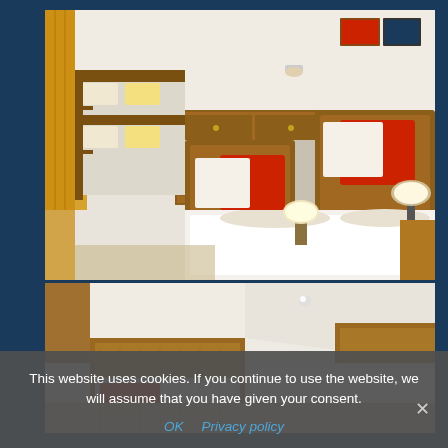[Figure (photo): Hotel room interior with wooden bunk beds/furniture, white bedding, orange/red accent pillows, and warm lighting]
[Figure (photo): Hotel room partial view showing white ceiling, wooden furniture elements, and red accent color]
This website uses cookies. If you continue to use the website, we will assume that you have given your consent.
OK   Privacy policy